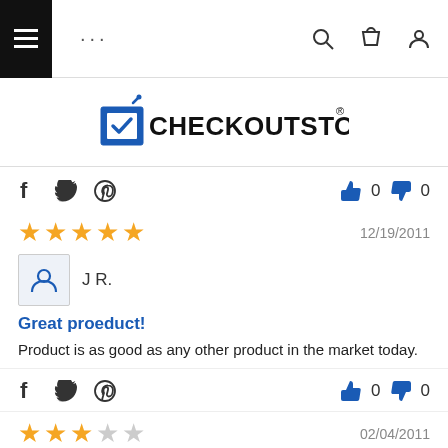CheckoutStore navigation bar with hamburger menu, dots, search, cart, and user icons
[Figure (logo): CheckoutStore logo with blue checkmark icon and bold text CHECKOUTSTORE with registered trademark symbol]
f  Twitter  Pinterest icon   👍 0  👎 0
★★★★★  12/19/2011
J R.
Great proeduct!
Product is as good as any other product in the market today.
f  Twitter  Pinterest icon   👍 0  👎 0
★★★☆☆  02/04/2011
THE W.